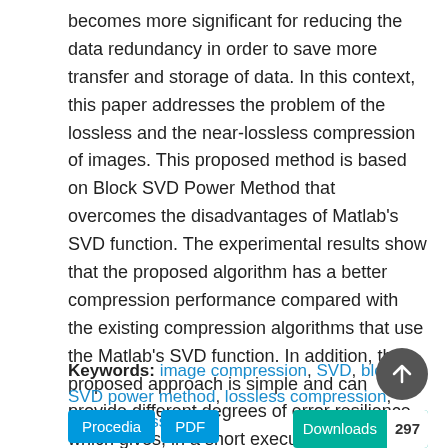becomes more significant for reducing the data redundancy in order to save more transfer and storage of data. In this context, this paper addresses the problem of the lossless and the near-lossless compression of images. This proposed method is based on Block SVD Power Method that overcomes the disadvantages of Matlab's SVD function. The experimental results show that the proposed algorithm has a better compression performance compared with the existing compression algorithms that use the Matlab's SVD function. In addition, the proposed approach is simple and can provide different degrees of error resilience, which gives, in a short execution time, a better image compression.
Keywords: image compression, SVD, block SVD power method, lossless compression, near lossless
Procedia  PDF  Downloads 297